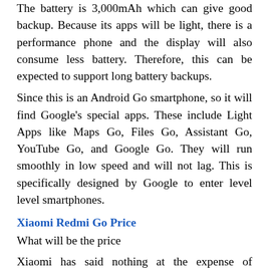The battery is 3,000mAh which can give good backup. Because its apps will be light, there is a performance phone and the display will also consume less battery. Therefore, this can be expected to support long battery backups.
Since this is an Android Go smartphone, so it will find Google's special apps. These include Light Apps like Maps Go, Files Go, Assistant Go, YouTube Go, and Google Go. They will run smoothly in low speed and will not lag. This is specifically designed by Google to enter level level smartphones.
Xiaomi Redmi Go Price
What will be the price
Xiaomi has said nothing at the expense of Xiaomi Redmi Go so far. But according to reports, its price will be 80 Euro. If you translate it into Rupees then it is 6,500 rupees. In India, the company can keep its